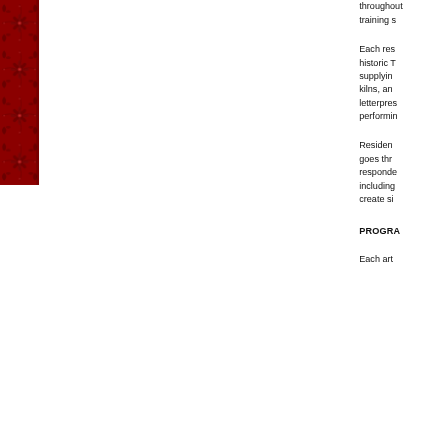[Figure (illustration): Red decorative panel with ornate floral/damask pattern on the left side of the page]
throughout training s
Each res historic T supplying kilns, an letterpres performin
Residen goes thr responde including create si
PROGRA
Each art